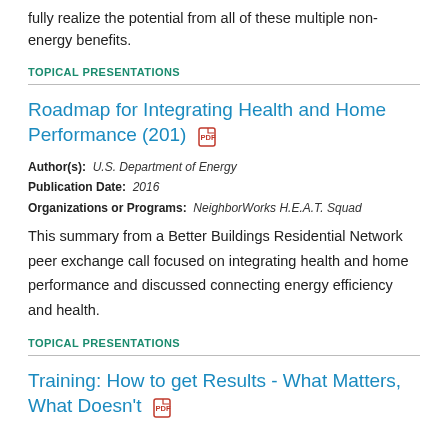fully realize the potential from all of these multiple non-energy benefits.
TOPICAL PRESENTATIONS
Roadmap for Integrating Health and Home Performance (201)
Author(s): U.S. Department of Energy
Publication Date: 2016
Organizations or Programs: NeighborWorks H.E.A.T. Squad
This summary from a Better Buildings Residential Network peer exchange call focused on integrating health and home performance and discussed connecting energy efficiency and health.
TOPICAL PRESENTATIONS
Training: How to get Results - What Matters, What Doesn't